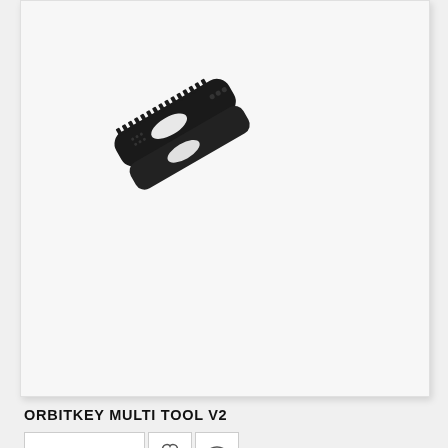[Figure (photo): A black Orbitkey Multi Tool V2 photographed against a light gray/white background. The tool is a compact, matte-black multi-tool with serrated edges and cutouts, viewed at an angle.]
ORBITKEY MULTI TOOL V2
ADD TO CART
[Figure (photo): Keys fanned out from an Orbitkey key organizer against a pink/rose background. Multiple silver keys are visible spread outward from the organizer's bolt, which has a brass/gold colored nut. The organizer body appears to be a light pink color.]